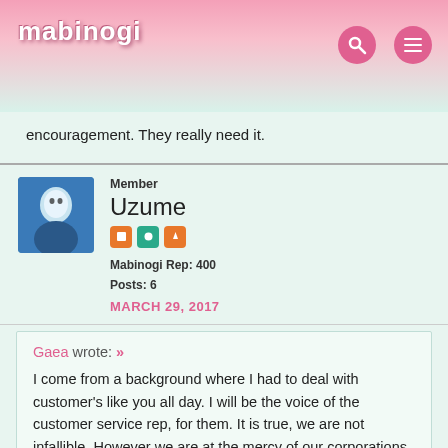Mabinogi
encouragement. They really need it.
Member
Uzume
Mabinogi Rep: 400
Posts: 6
MARCH 29, 2017
Gaea wrote: »
I come from a background where I had to deal with customer's like you all day. I will be the voice of the customer service rep, for them. It is true, we are not infallible. However we are at the mercy of our corporations and we attempt to serve you under the constraints of the procedures and policies we must